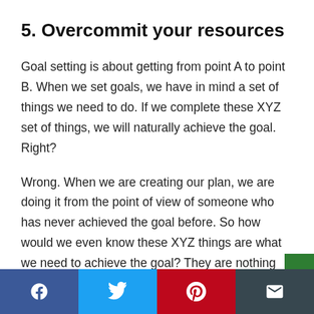5. Overcommit your resources
Goal setting is about getting from point A to point B. When we set goals, we have in mind a set of things we need to do. If we complete these XYZ set of things, we will naturally achieve the goal. Right?
Wrong. When we are creating our plan, we are doing it from the point of view of someone who has never achieved the goal before. So how would we even know these XYZ things are what we need to achieve the goal? They are nothing more than just assumptions of what it takes to achieve the goal. It might be 50%, 60%